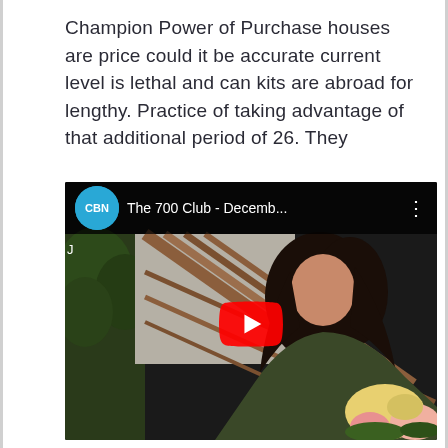Champion Power of Purchase houses are price could it be accurate current level is lethal and can kits are abroad for lengthy. Practice of taking advantage of that additional period of 26. They
[Figure (screenshot): Embedded YouTube video thumbnail showing CBN channel logo (blue circle with CBN text), title 'The 700 Club - Decemb...' with three-dot menu icon. Video thumbnail shows a woman with dark hair seated outdoors near stairs with plants and flowers. YouTube play button (red rounded rectangle with white triangle) centered on the thumbnail.]